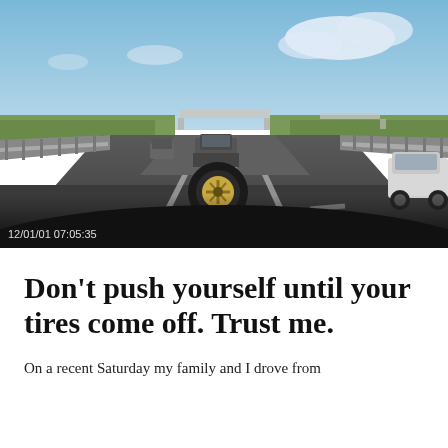[Figure (photo): Dashcam footage from inside a vehicle on a highway. A loose tire is rolling in the middle lane ahead. Other vehicles visible including a car on the right. Highway guardrails on both sides, open flat landscape, blue sky with clouds. Timestamp reads 12/01/01 07:05:35.]
Don’t push yourself until your tires come off. Trust me.
On a recent Saturday my family and I drove from